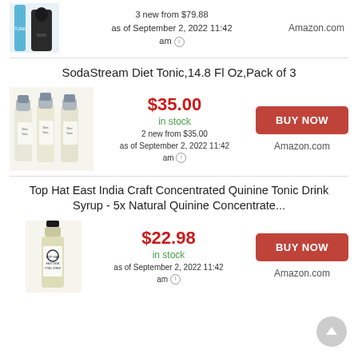[Figure (photo): Partial product image at top - SodaStream bottles/device]
3 new from $79.88
as of September 2, 2022 11:42 am
Amazon.com
SodaStream Diet Tonic,14.8 Fl Oz,Pack of 3
[Figure (photo): Three SodaStream Diet Tonic bottles]
$35.00
in stock
2 new from $35.00
as of September 2, 2022 11:42 am
BUY NOW
Amazon.com
Top Hat East India Craft Concentrated Quinine Tonic Drink Syrup - 5x Natural Quinine Concentrate...
[Figure (photo): Top Hat tonic syrup bottle]
$22.98
in stock
as of September 2, 2022 11:42 am
BUY NOW
Amazon.com